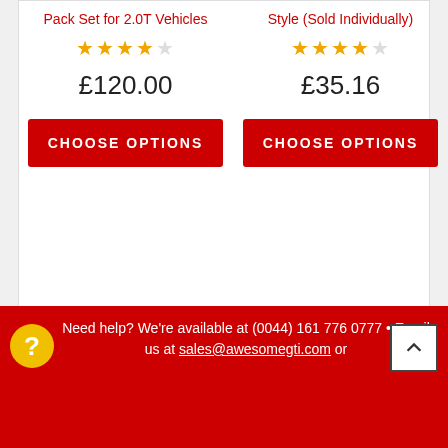Pack Set for 2.0T Vehicles
Style (Sold Individually)
★★★★★
★★★★★
£120.00
£35.16
CHOOSE OPTIONS
CHOOSE OPTIONS
Need help? We're available at (0044) 161 776 0777 • Email us at sales@awesomegti.com or